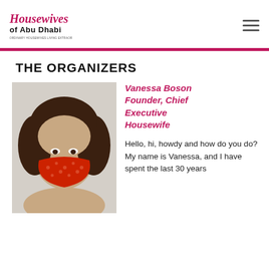[Figure (logo): Housewives of Abu Dhabi logo with cursive and sans-serif text, tagline below]
[Figure (other): Hamburger menu icon (three horizontal lines)]
THE ORGANIZERS
[Figure (photo): Photo of a woman with curly brown hair wearing a red patterned face mask]
Vanessa Boson Founder, Chief Executive Housewife
Hello, hi, howdy and how do you do? My name is Vanessa, and I have spent the last 30 years